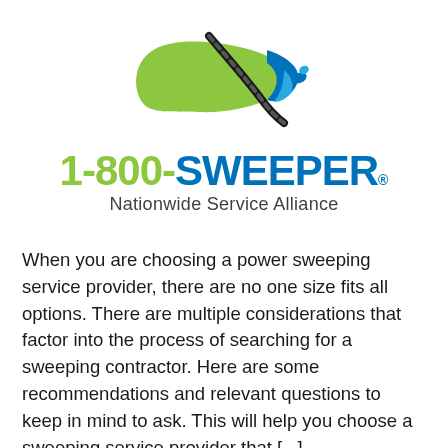[Figure (logo): 1-800-SWEEPER Nationwide Service Alliance logo with US map graphic in green and blue]
When you are choosing a power sweeping service provider, there are no one size fits all options. There are multiple considerations that factor into the process of searching for a sweeping contractor. Here are some recommendations and relevant questions to keep in mind to ask. This will help you choose a sweeping service provider that [...]